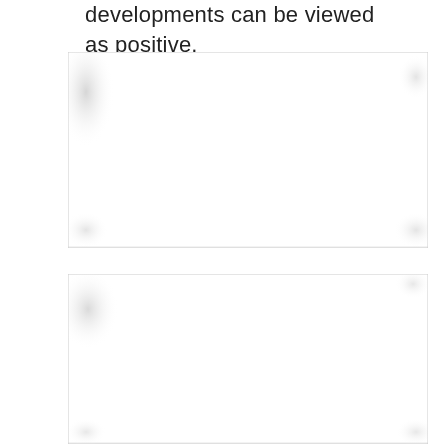developments can be viewed as positive.
[Figure (other): Faded/blurred image or chart, top portion of page, mostly white with light gray border]
[Figure (other): Faded/blurred image or chart, bottom portion of page, mostly white with light gray border]